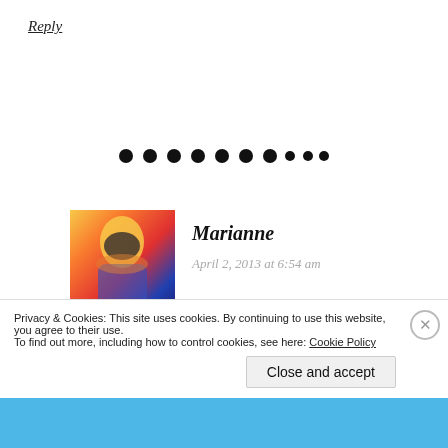Reply
[Figure (illustration): Decorative dots divider — a row of approximately 9 black filled circles]
[Figure (photo): Avatar photo of Marianne — a person with blonde hair and sunglasses, wearing colorful clothing, with a psychedelic orange/blue/red color treatment]
Marianne
April 2, 2013 at 6:54 am
I loved the array of colours when the post was finally finished, and you´re right, Amy, they are cheerful, aren´t they?
Privacy & Cookies: This site uses cookies. By continuing to use this website, you agree to their use.
To find out more, including how to control cookies, see here: Cookie Policy
Close and accept